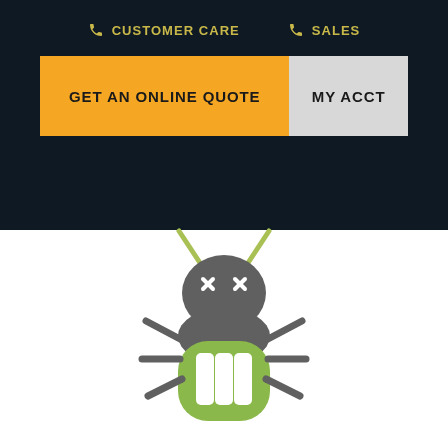CUSTOMER CARE   SALES
GET AN ONLINE QUOTE
MY ACCT
[Figure (illustration): A dead bug / error icon illustration — a stylized beetle with gray rounded body, green abdomen section with white stripe windows, crossed-out X X eyes, gray legs, and two yellow-green antennae. Used as a loading or error state graphic.]